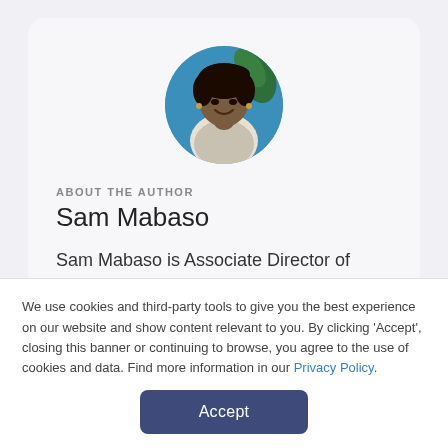[Figure (photo): Circular profile photo of Sam Mabaso, a woman with curly hair, smiling, wearing a patterned top, against a blue background.]
ABOUT THE AUTHOR
Sam Mabaso
Sam Mabaso is Associate Director of Marketing at techsnert.io and leads the
We use cookies and third-party tools to give you the best experience on our website and show content relevant to you. By clicking 'Accept', closing this banner or continuing to browse, you agree to the use of cookies and data. Find more information in our Privacy Policy.
Accept